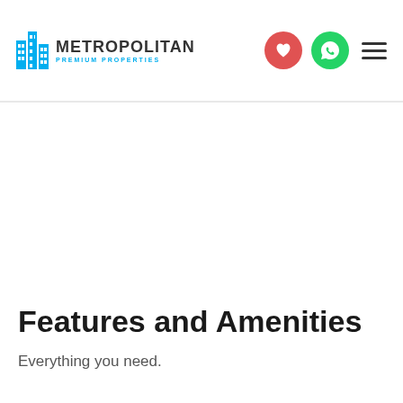Metropolitan Premium Properties
Features and Amenities
Everything you need.